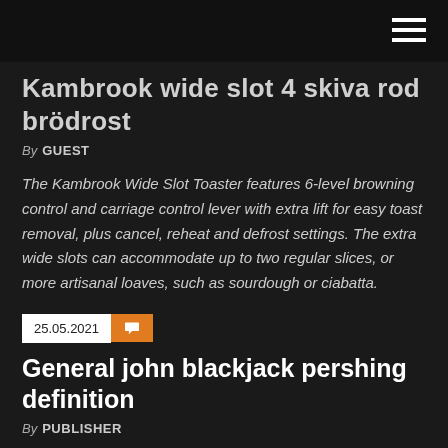Kambrook wide slot 4 skiva rod brödrost
By GUEST
The Kambrook Wide Slot Toaster features 6-level browning control and carriage control lever with extra lift for easy toast removal, plus cancel, reheat and defrost settings. The extra wide slots can accommodate up to two regular slices, or more artisanal loaves, such as sourdough or ciabatta.
25.05.2021
General john blackjack pershing definition
By PUBLISHER